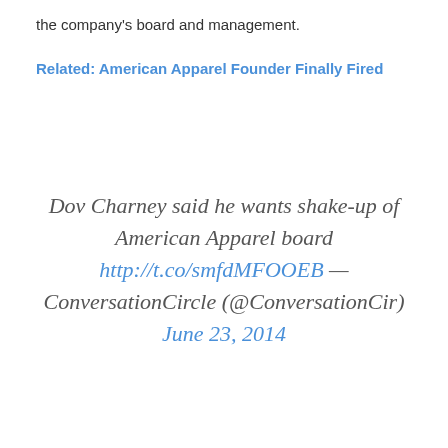the company's board and management.
Related: American Apparel Founder Finally Fired
Dov Charney said he wants shake-up of American Apparel board http://t.co/smfdMFOOEB — ConversationCircle (@ConversationCir) June 23, 2014